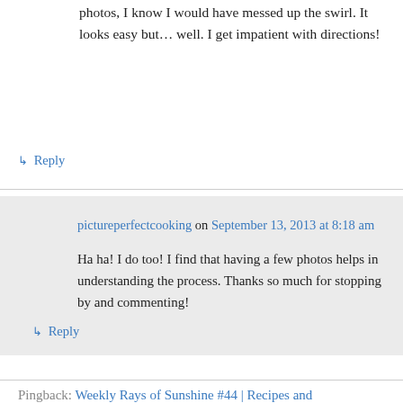photos, I know I would have messed up the swirl. It looks easy but… well. I get impatient with directions!
↳ Reply
pictureperfectcooking on September 13, 2013 at 8:18 am
Ha ha! I do too! I find that having a few photos helps in understanding the process. Thanks so much for stopping by and commenting!
↳ Reply
Pingback: Weekly Rays of Sunshine #44 | Recipes and